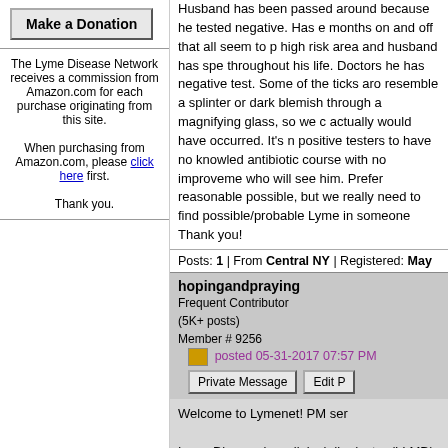[Figure (other): Make a Donation button]
The Lyme Disease Network receives a commission from Amazon.com for each purchase originating from this site.

When purchasing from Amazon.com, please click here first.

Thank you.
Husband has been passed around because he tested negative. Has experienced months on and off that all seem to point to high risk area and husband has spent time throughout his life. Doctors he has seen negative test. Some of the ticks around resemble a splinter or dark blemish through a magnifying glass, so we actually would have occurred. It's not positive testers to have no knowledge antibiotic course with no improvement who will see him. Prefer reasonable possible, but we really need to find possible/probable Lyme in someone Thank you!
Posts: 1 | From Central NY | Registered: May
hopingandpraying
Frequent Contributor
(5K+ posts)
Member # 9256
posted 05-31-2017 07:57 PM
Welcome to Lymenet! PM ser

Lyme Disease is a clinical dia doctor (LLMD) based on med results, etc. Your husband sho Labs in Palo Alto, CA. They s

Here is some info about tick b